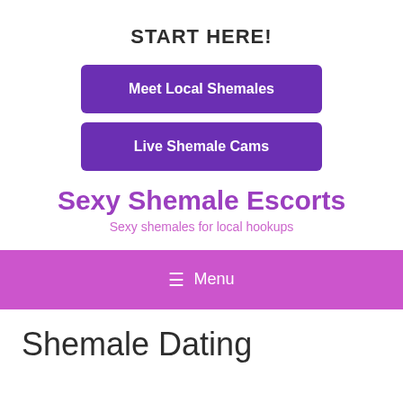START HERE!
Meet Local Shemales
Live Shemale Cams
Sexy Shemale Escorts
Sexy shemales for local hookups
≡ Menu
Shemale Dating